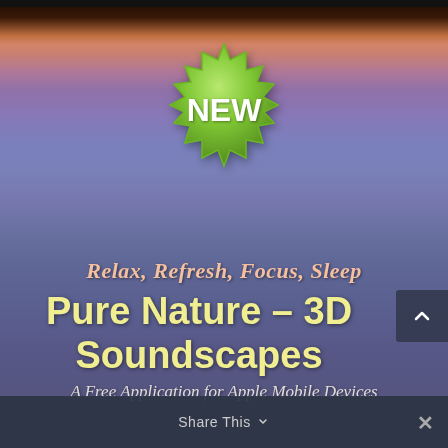[Figure (illustration): App promotional screenshot with mountain/sky background at dusk, featuring a green starburst 'NEW' badge, title text overlay, and a Share This toolbar at the bottom.]
NEW
Relax, Refresh, Focus, Sleep
Pure Nature – 3D Soundscapes
A Free Application for Apple Mobile Devices
Share This